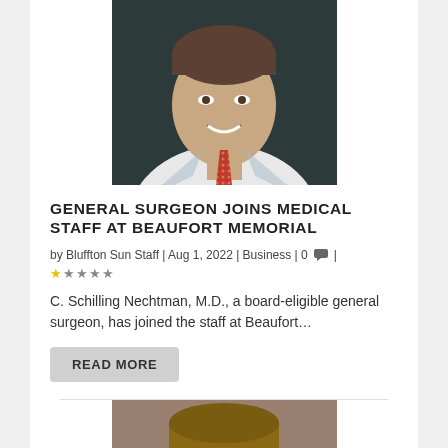[Figure (photo): Professional headshot of a male doctor wearing a white lab coat and red patterned tie, smiling against a dark background]
GENERAL SURGEON JOINS MEDICAL STAFF AT BEAUFORT MEMORIAL
by Bluffton Sun Staff | Aug 1, 2022 | Business | 0 | ★☆☆☆☆
C. Schilling Nechtman, M.D., a board-eligible general surgeon, has joined the staff at Beaufort…
READ MORE
[Figure (photo): Partial headshot of a second person, only top of head visible at bottom of page]